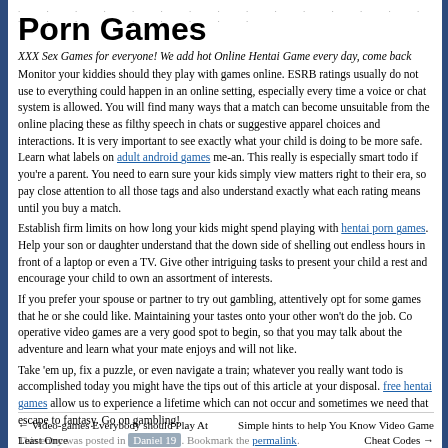. . . . . . . . . . . . . . . . . . . . . . . .
Porn Games
XXX Sex Games for everyone! We add hot Online Hentai Game every day, come back
Monitor your kiddies should they play with games online. ESRB ratings usually do not use to everything could happen in an online setting, especially every time a voice or chat system is allowed. You will find many ways that a match can become unsuitable from the online placing these as filthy speech in chats or suggestive apparel choices and interactions. It is very important to see exactly what your child is doing to be more safe. Learn what labels on adult android games me-an. This really is especially smart todo if you're a parent. You need to earn sure your kids simply view matters right to their era, so pay close attention to all those tags and also understand exactly what each rating means until you buy a match.
Establish firm limits on how long your kids might spend playing with hentai porn games. Help your son or daughter understand that the down side of shelling out endless hours in front of a laptop or even a TV. Give other intriguing tasks to present your child a rest and encourage your child to own an assortment of interests.
If you prefer your spouse or partner to try out gambling, attentively opt for some games that he or she could like. Maintaining your tastes onto your other won't do the job. Co operative video games are a very good spot to begin, so that you may talk about the adventure and learn what your mate enjoys and will not like.
Take 'em up, fix a puzzle, or even navigate a train; whatever you really want todo is accomplished today you might have the tips out of this article at your disposal. free hentai games allow us to experience a lifetime which can not occur and sometimes we need that escape to fantasy. Go on gambling!
This entry was posted in Daniel 19. Bookmark the permalink.
← Video-games Everybody should Play At Least Once
Simple hints to help You Know Video Game Cheat Codes →